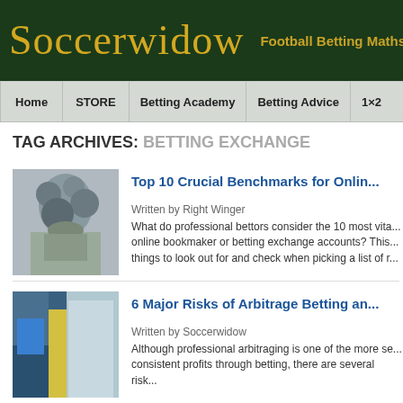Soccerwidow — Football Betting Maths, Know...
Home | STORE | Betting Academy | Betting Advice | 1×2
TAG ARCHIVES: BETTING EXCHANGE
Top 10 Crucial Benchmarks for Onlin...
Written by Right Winger
What do professional bettors consider the 10 most vita... online bookmaker or betting exchange accounts? This... things to look out for and check when picking a list of r...
6 Major Risks of Arbitrage Betting an...
Written by Soccerwidow
Although professional arbitraging is one of the more se... consistent profits through betting, there are several risk...